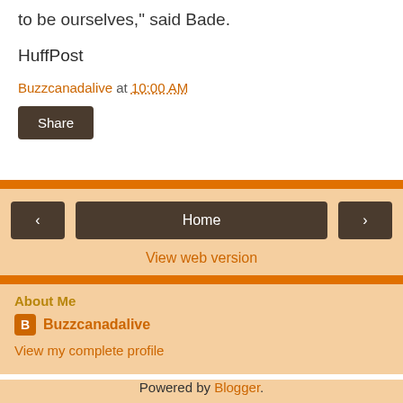"We need to feel safe at school, we need to feel like it is OK to be ourselves," said Bade.
HuffPost
Buzzcanadalive at 10:00 AM
Share
Home
View web version
About Me
Buzzcanadalive
View my complete profile
Powered by Blogger.